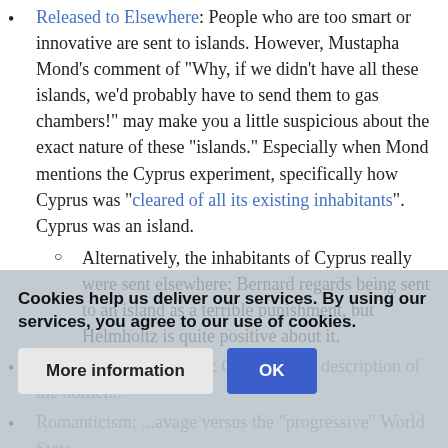Released to Elsewhere: People who are too smart or innovative are sent to islands. However, Mustapha Mond's comment of "Why, if we didn't have all these islands, we'd probably have to send them to gas chambers!" may make you a little suspicious about the exact nature of these "islands." Especially when Mond mentions the Cyprus experiment, specifically how Cyprus was "cleared of all its existing inhabitants". Cyprus was an island.
Alternatively, the inhabitants of Cyprus really were sent elsewhere; Bernard regards being sent to an island as a terrible punishment, but Helmholtz is quite positive about it.
Robotic Assemble Lines: Opens with a description of the...
Romanticism: ...savage versus the "progressive" World State.
Cookies help us deliver our services. By using our services, you agree to our use of cookies.